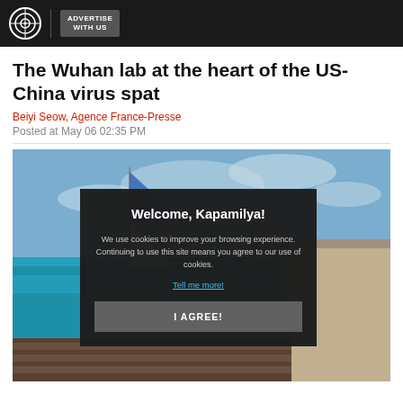ADVERTISE WITH US
The Wuhan lab at the heart of the US-China virus spat
Beiyi Seow, Agence France-Presse
Posted at May 06 02:35 PM
[Figure (photo): Outdoor ocean scene with a boat and blue water, overlaid with a cookie consent popup reading 'Welcome, Kapamilya! We use cookies to improve your browsing experience. Continuing to use this site means you agree to our use of cookies. Tell me more! I AGREE!']